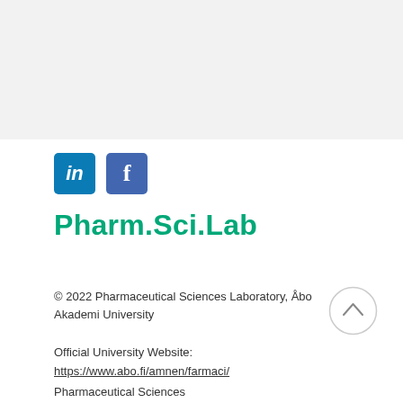[Figure (illustration): Gray banner/image placeholder at top of page]
[Figure (logo): LinkedIn and Facebook social media icons side by side]
Pharm.Sci.Lab
© 2022 Pharmaceutical Sciences Laboratory, Åbo Akademi University
Official University Website:
https://www.abo.fi/amnen/farmaci/
Pharmaceutical Sciences